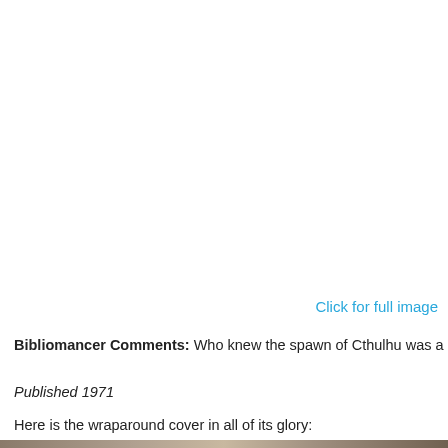[Figure (other): Large white area representing the top portion of the page, likely where a book cover image would appear (cropped/not visible)]
Click for full image
Bibliomancer Comments: Who knew the spawn of Cthulhu was a
Published 1971
Here is the wraparound cover in all of its glory:
[Figure (photo): Bottom edge of a wraparound book cover image, partially visible at the very bottom of the page]